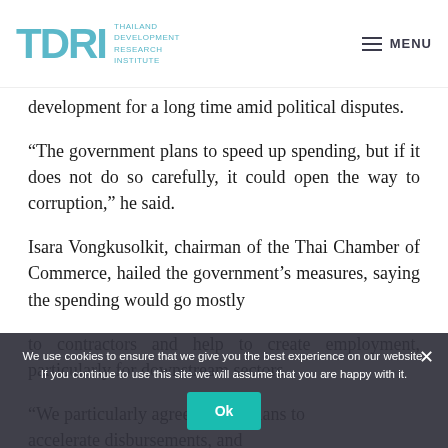TDRI THAILAND DEVELOPMENT RESEARCH INSTITUTE | MENU
development for a long time amid political disputes.
“The government plans to speed up spending, but if it does not do so carefully, it could open the way to corruption,” he said.
Isara Vongkusolkit, chairman of the Thai Chamber of Commerce, hailed the government’s measures, saying the spending would go mostly to contractors and help to create employment, particularly for downstream sectors.
“We particularly agree with the plans to accelerate disbursements, and...
We use cookies to ensure that we give you the best experience on our website. If you continue to use this site we will assume that you are happy with it.